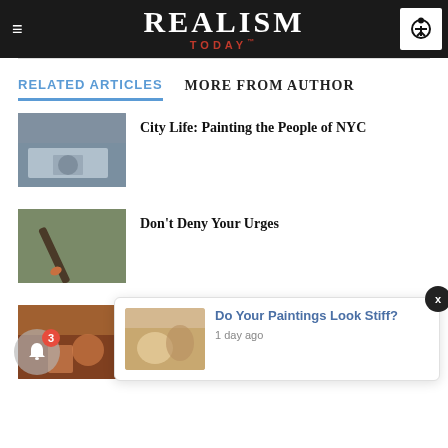REALISM TODAY
RELATED ARTICLES   MORE FROM AUTHOR
[Figure (photo): Thumbnail photo of person sitting on bed in room - article image for City Life]
City Life: Painting the People of NYC
[Figure (photo): Thumbnail photo of hand holding paintbrush - article image for Don't Deny Your Urges]
Don't Deny Your Urges
[Figure (photo): Thumbnail of painting for notification popup - Do Your Paintings Look Stiff?]
Do Your Paintings Look Stiff?
1 day ago